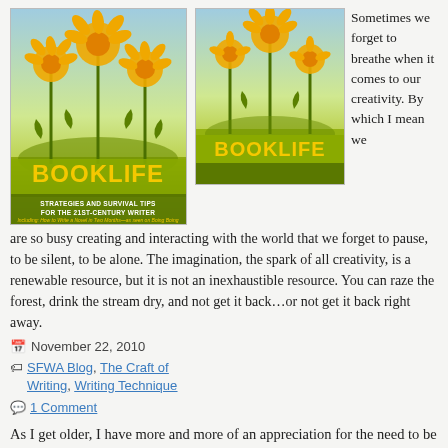[Figure (illustration): Book cover of BOOKLIFE: Strategies and Survival Tips for the 21st-Century Writer, showing stylized orange flowers on green stems against a blue/yellow background. Large yellow BOOKLIFE title text at bottom.]
[Figure (illustration): Smaller/cropped version of the same BOOKLIFE book cover showing orange flowers and BOOKLIFE title text.]
Sometimes we forget to breathe when it comes to our creativity. By which I mean we are so busy creating and interacting with the world that we forget to pause, to be silent, to be alone. The imagination, the spark of all creativity, is a renewable resource, but it is not an inexhaustible resource. You can raze the forest, drink the stream dry, and not get it back…or not get it back right away.
November 22, 2010
SFWA Blog, The Craft of Writing, Writing Technique
1 Comment
As I get older, I have more and more of an appreciation for the need to be still, the need to be silent, and the need to be alone. I have less energy than I did when I was younger. My mind is less elastic, less flexible. On the other hand, because I have to be I am craftier now than I was in the twenties or thirties, and I have more experience, although not